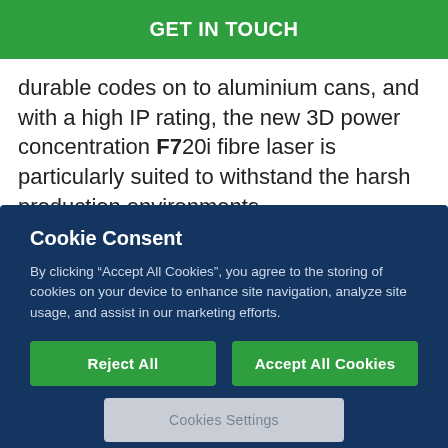GET IN TOUCH
durable codes on to aluminium cans, and with a high IP rating, the new 3D power concentration F720i fibre laser is particularly suited to withstand the harsh production environments
Cookie Consent
By clicking “Accept All Cookies”, you agree to the storing of cookies on your device to enhance site navigation, analyze site usage, and assist in our marketing efforts.
Reject All
Accept All Cookies
Cookies Settings